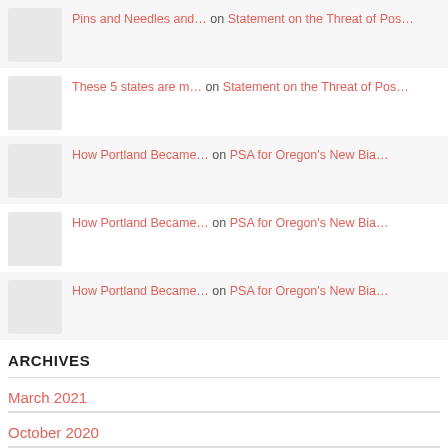Pins and Needles and... on Statement on the Threat of Pos...
These 5 states are m... on Statement on the Threat of Pos...
How Portland Became... on PSA for Oregon's New Bia...
How Portland Became... on PSA for Oregon's New Bia...
How Portland Became... on PSA for Oregon's New Bia...
ARCHIVES
March 2021
October 2020
February 2020